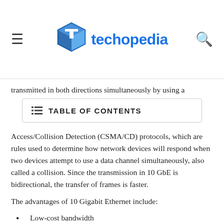techopedia
transmitted in both directions simultaneously by using a
TABLE OF CONTENTS
Access/Collision Detection (CSMA/CD) protocols, which are rules used to determine how network devices will respond when two devices attempt to use a data channel simultaneously, also called a collision. Since the transmission in 10 GbE is bidirectional, the transfer of frames is faster.
The advantages of 10 Gigabit Ethernet include:
Low-cost bandwidth
Faster switching. 10 GbE uses the same Ethernet format, which allows seamless integration of LAN, CAN, WAN and MAN. This eliminates the need for